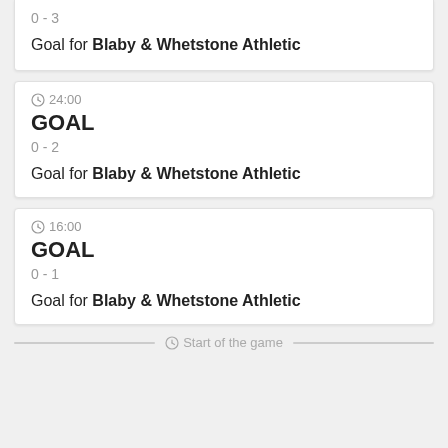0 - 3
Goal for Blaby & Whetstone Athletic
24:00
GOAL
0 - 2
Goal for Blaby & Whetstone Athletic
16:00
GOAL
0 - 1
Goal for Blaby & Whetstone Athletic
Start of the game